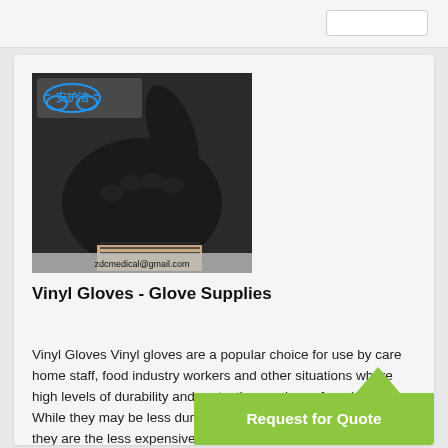[Figure (photo): Black vinyl/nitrile glove with thumbs up gesture, with Chinese brand logo (安护洁) in blue at top left and email zdcmedical@gmail.com overlaid at the bottom]
Vinyl Gloves - Glove Supplies
Vinyl Gloves Vinyl gloves are a popular choice for use by care home staff, food industry workers and other situations where high levels of durability and protection are less of a priority. While they may be less durable, they are the less expensive... Vinyl Gloves include the foll...
[Figure (other): Request for Quote green button with upward arrow]